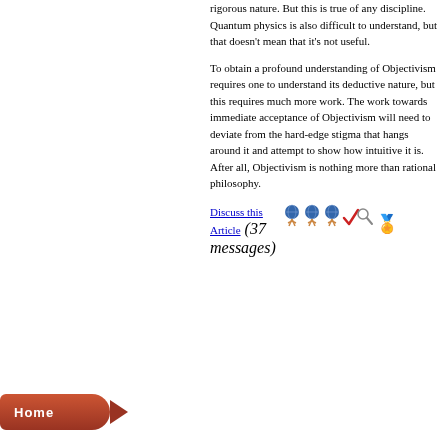rigorous nature. But this is true of any discipline. Quantum physics is also difficult to understand, but that doesn't mean that it's not useful.
To obtain a profound understanding of Objectivism requires one to understand its deductive nature, but this requires much more work. The work towards immediate acceptance of Objectivism will need to deviate from the hard-edge stigma that hangs around it and attempt to show how intuitive it is. After all, Objectivism is nothing more than rational philosophy.
Discuss this Article (37 messages)
[Figure (illustration): Row of icons: three globe figures, a red checkmark, a magnifying glass, and a blue ribbon/award]
Home